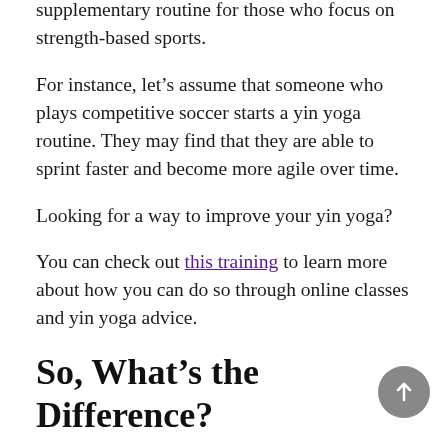supplementary routine for those who focus on strength-based sports.
For instance, let’s assume that someone who plays competitive soccer starts a yin yoga routine. They may find that they are able to sprint faster and become more agile over time.
Looking for a way to improve your yin yoga?
You can check out this training to learn more about how you can do so through online classes and yin yoga advice.
So, What’s the Difference?
The main difference between these two types of